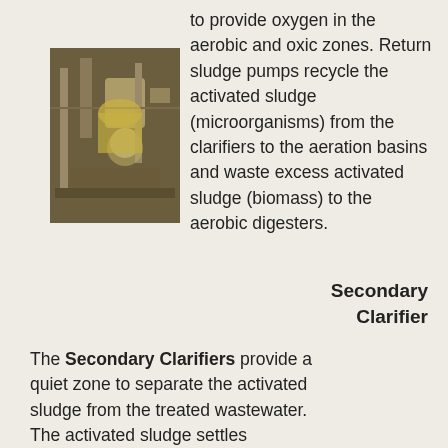[Figure (photo): Indoor industrial equipment photo showing pipes, tanks, and machinery in a wastewater treatment facility]
to provide oxygen in the aerobic and oxic zones. Return sludge pumps recycle the activated sludge (microorganisms) from the clarifiers to the aeration basins and waste excess activated sludge (biomass) to the aerobic digesters.
Secondary Clarifier
The Secondary Clarifiers provide a quiet zone to separate the activated sludge from the treated wastewater. The activated sludge settles